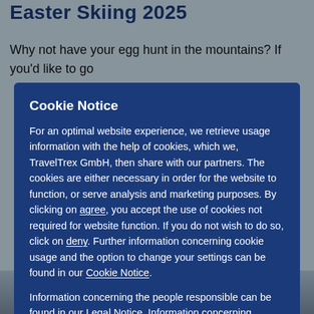Easter Skiing 2025
Why not have your egg hunt in the mountains? If you'd like to go
Cookie Notice
For an optimal website experience, we retrieve usage information with the help of cookies, which we, TravelTrex GmbH, then share with our partners. The cookies are either necessary in order for the website to function, or serve analysis and marketing purposes. By clicking on agree, you accept the use of cookies not required for website function. If you do not wish to do so, click on deny. Further information concerning cookie usage and the option to change your settings can be found in our Cookie Notice.
Information concerning the people responsible can be found in our Legal Notice. Information concerning processing purposes and your rights can be found in our Data Protection Policy.
AGREE